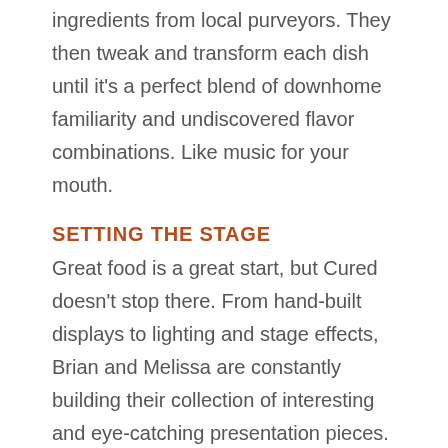ingredients from local purveyors. They then tweak and transform each dish until it's a perfect blend of downhome familiarity and undiscovered flavor combinations. Like music for your mouth.
SETTING THE STAGE
Great food is a great start, but Cured doesn't stop there. From hand-built displays to lighting and stage effects, Brian and Melissa are constantly building their collection of interesting and eye-catching presentation pieces.